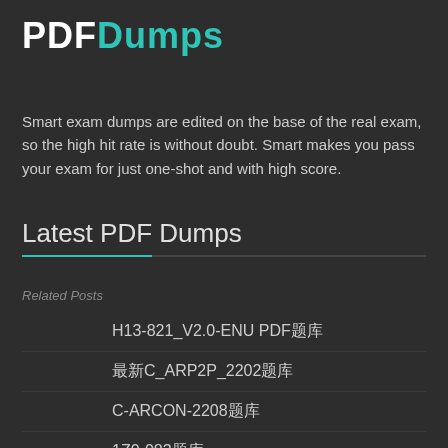PDFDumps
Smart exam dumps are edited on the base of the real exam, so the high hit rate is without doubt. Smart makes you pass your exam for just one-shot and with high score.
Latest PDF Dumps
Related Posts
H13-821_V2.0-ENU PDF题库
最新C_ARP2P_2202题库
C-ARCON-2208题库
1Z0-083题库
OGD-001最新题库